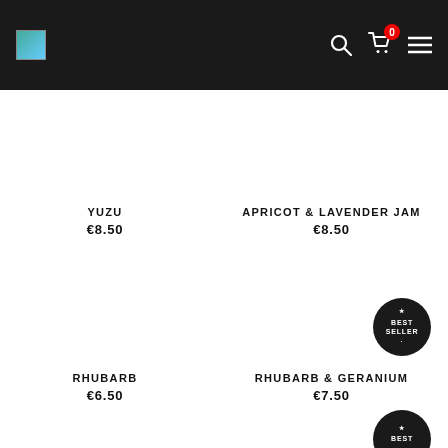Navigation header with logo, search, cart (0 items), and menu icons
YUZU
€8.50
APRICOT & LAVENDER JAM
€8.50
RHUBARB
€6.50
RHUBARB & GERANIUM
€7.50